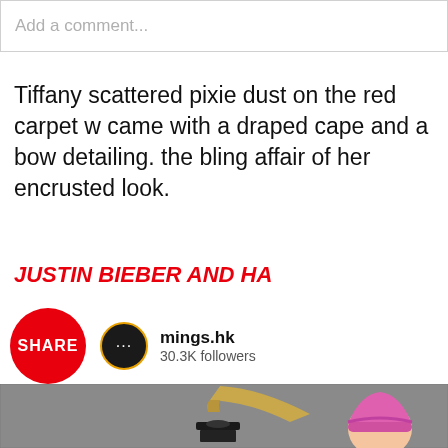Add a comment...
Tiffany scattered pixie dust on the red carpet w... came with a draped cape and a bow detailing. ... the bling affair of her encrusted look.
JUSTIN BIEBER AND HA
SHARE
mings.hk
30.3K followers
[Figure (photo): Photo of Grammy Award trophy and person wearing pink beanie hat, taken at Grammy event]